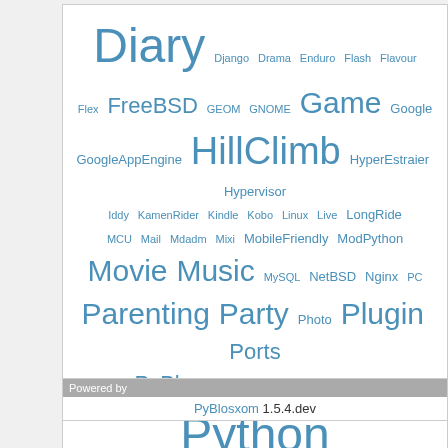[Figure (infographic): Tag cloud with words in varying font sizes, all in blue. Words include: Diary, Django, Drama, Enduro, Flash, Flavour, Flex, FreeBSD, GEOM, GNOME, Game, Google, GoogleAppEngine, HillClimb, HyperEstraier, Hypervisor, Iddy, KamenRider, Kindle, Kobo, Linux, Live, LongRide, MCU, Mail, Mdadm, Mixi, MobileFriendly, ModPython, Movie, Music, MySQL, NetBSD, Nginx, PC, Parenting, Party, Photo, Plugin, Ports, PyBlosxom, PyConJP, PyXPCOM, Python, RAID, RAIDframe, Rabbit, Race, Rapha, Retrospective, RoadBike, Ruby, SL4A, Stationery, Strava, TV, Think, Travel, Twitter, UmePy, Vim, WSGI, Wassr, Wine, Xen, XenServer, Xperia, ZFS, Zsh, github, uWSGI]
Powered by
PyBlosxom 1.5.4.dev